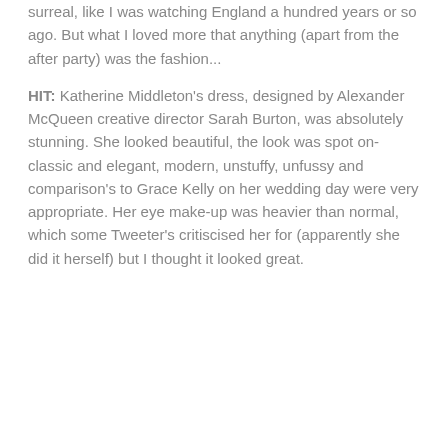surreal, like I was watching England a hundred years or so ago. But what I loved more that anything (apart from the after party) was the fashion...
HIT: Katherine Middleton's dress, designed by Alexander McQueen creative director Sarah Burton, was absolutely stunning. She looked beautiful, the look was spot on- classic and elegant, modern, unstuffy, unfussy and comparison's to Grace Kelly on her wedding day were very appropriate. Her eye make-up was heavier than normal, which some Tweeter's critiscised her for (apparently she did it herself) but I thought it looked great.